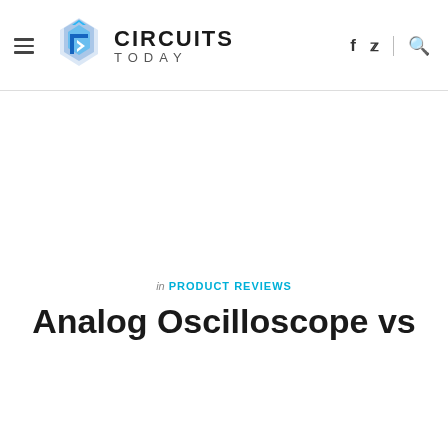CIRCUITS TODAY — navigation header with logo, hamburger menu, social icons (f, twitter), search icon
in PRODUCT REVIEWS
Analog Oscilloscope vs